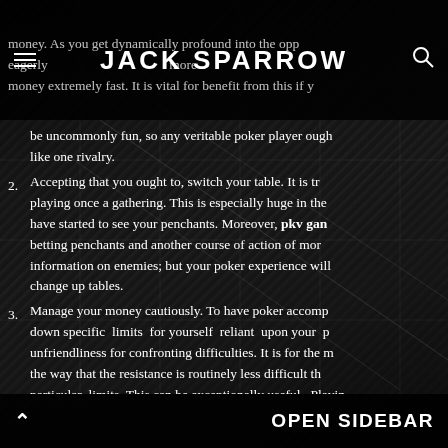JACK SPARROW
money. As you get dynamically profound into the opp eagerly more and money extremely fast. It is vital for benefit from this if y
be uncommonly fun, so any veritable poker player ough like one rivalry.
2. Accepting that you ought to, switch your table. It is tr playing once a gathering. This is especially huge in the have started to see your penchants. Moreover, pkv gan betting penchants and another course of action of mor information on enemies; but your poker experience will change up tables.
3. Manage your money cautiously. To have poker accomp down specific limits for yourself reliant upon your p unfriendliness for confronting difficulties. It is for the m the way that the resistance is routinely less difficult th particular limits. This can be exceptionally useful. Playin playing in an extraordinary game can provoke extended about short run and since a while in the pas
OPEN SIDEBAR